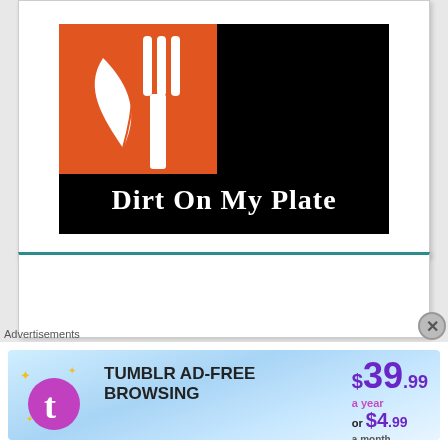[Figure (logo): Dirt On My Plate logo: black background with orange square containing white leaf and fork icon, white text 'Dirt On My Plate' below]
[Figure (other): Empty white card panel with teal top border]
SPRING 2022
Advertisements
[Figure (other): Tumblr Ad-Free Browsing advertisement banner: $39.99 a year or $4.99 a month]